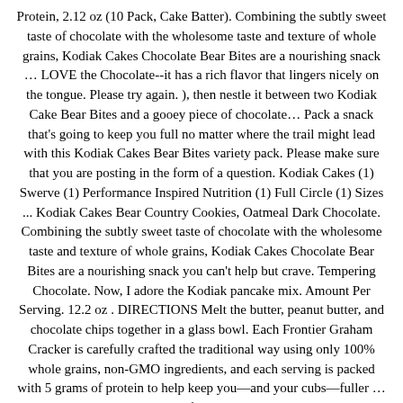Protein, 2.12 oz (10 Pack, Cake Batter). Combining the subtly sweet taste of chocolate with the wholesome taste and texture of whole grains, Kodiak Cakes Chocolate Bear Bites are a nourishing snack … LOVE the Chocolate--it has a rich flavor that lingers nicely on the tongue. Please try again. ), then nestle it between two Kodiak Cake Bear Bites and a gooey piece of chocolate… Pack a snack that's going to keep you full no matter where the trail might lead with this Kodiak Cakes Bear Bites variety pack. Please make sure that you are posting in the form of a question. Kodiak Cakes (1) Swerve (1) Performance Inspired Nutrition (1) Full Circle (1) Sizes ... Kodiak Cakes Bear Country Cookies, Oatmeal Dark Chocolate. Combining the subtly sweet taste of chocolate with the wholesome taste and texture of whole grains, Kodiak Cakes Chocolate Bear Bites are a nourishing snack you can't help but crave. Tempering Chocolate. Now, I adore the Kodiak pancake mix. Amount Per Serving. 12.2 oz . DIRECTIONS Melt the butter, peanut butter, and chocolate chips together in a glass bowl. Each Frontier Graham Cracker is carefully crafted the traditional way using only 100% whole grains, non-GMO ingredients, and each serving is packed with 5 grams of protein to help keep you—and your cubs—fuller … Beartooth Bites is an online confectionery store that makes delicious melt-in-your-mouth fudge. There was an error retrieving your Wish Lists. … 10mins Total Time. Start with a mini marshmallow, roast it to the perfect golden brown (or a little charred if that's your style! 10mins. This is the worst thing I've put